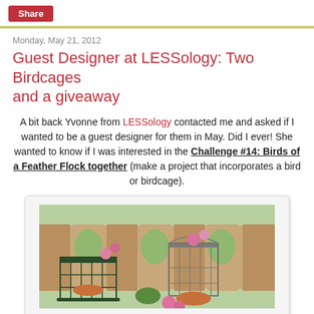Share
Monday, May 21, 2012
Guest Designer at LESSology: Two Birdcages and a giveaway
A bit back Yvonne from LESSology contacted me and asked if I wanted to be a guest designer for them in May. Did I ever! She wanted to know if I was interested in the Challenge #14: Birds of a Feather Flock together (make a project that incorporates a bird or birdcage).
[Figure (photo): Two decorative birdcages with pink flowers and greenery displayed on a wooden surface outdoors]